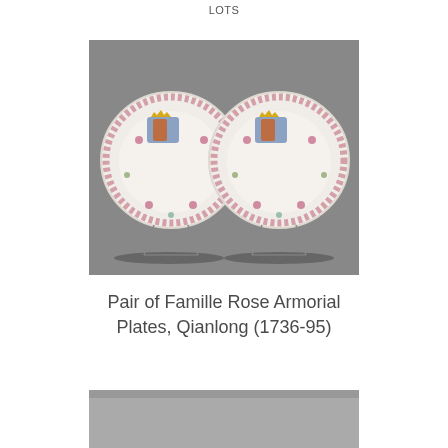LOTS
[Figure (photo): Two white porcelain plates with scalloped edges decorated with pink floral borders and colorful armorial crests at the top, displayed on plate stands against a grey background.]
Pair of Famille Rose Armorial Plates, Qianlong (1736-95)
[Figure (photo): Partial view of another auction lot item, grey surface visible at bottom of page.]